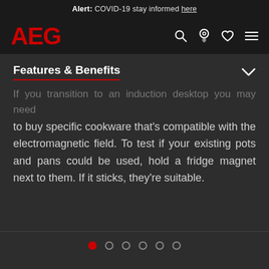Alert: COVID-19 stay informed here
[Figure (logo): AEG logo in red with navigation icons (search, location, heart, menu) on dark background]
Features & Benefits
If you transition to an induction desktop you may need to buy specific cookware that's compatible with the electromagnetic field. To test if your existing pots and pans could be used, hold a fridge magnet next to them. If it sticks, they're suitable.
[Figure (other): Carousel pagination dots: 6 dots with first dot active (red), rest inactive (outlined circles)]